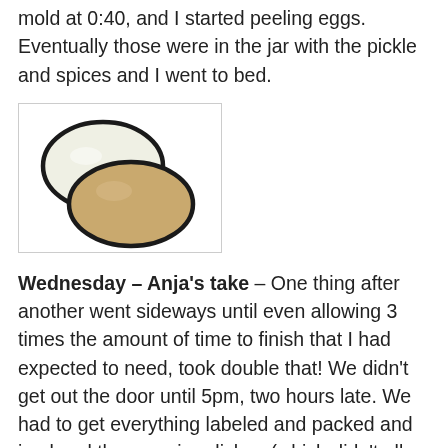mold at 0:40, and I started peeling eggs. Eventually those were in the jar with the pickle and spices and I went to bed.
[Figure (illustration): Cartoon illustration of two peeled eggs – one white/cream colored egg overlapping a tan/brown colored egg, both outlined in black, on a white background inside a bordered box.]
Wednesday – Anja's take – One thing after another went sideways until even allowing 3 times the amount of time to finish that I had expected to need, took double that! We didn't get out the door until 5pm, two hours late. We had to get everything labeled and packed and iced and then serving dishes (which didn't all get labeled, I figured out when we were on the road), then to make sure ingredients cards and packing lists were printed.